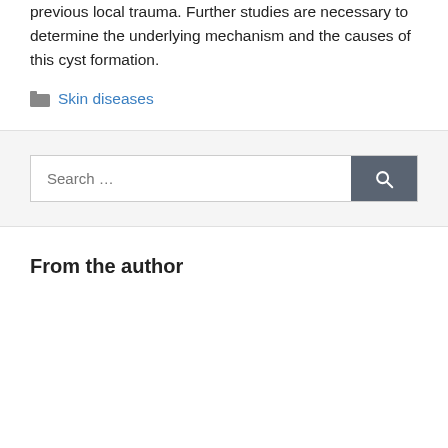previous local trauma. Further studies are necessary to determine the underlying mechanism and the causes of this cyst formation.
Skin diseases
Search …
From the author